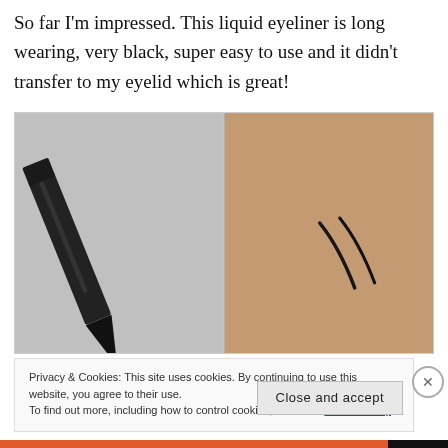So far I'm impressed. This liquid eyeliner is long wearing, very black, super easy to use and it didn't transfer to my eyelid which is great!
[Figure (photo): Two side-by-side photos: left shows a black liquid eyeliner pen tip close-up on a grey background; right shows two black eyeliner swatches drawn on skin.]
Privacy & Cookies: This site uses cookies. By continuing to use this website, you agree to their use.
To find out more, including how to control cookies, see here: Cookie Policy
Close and accept